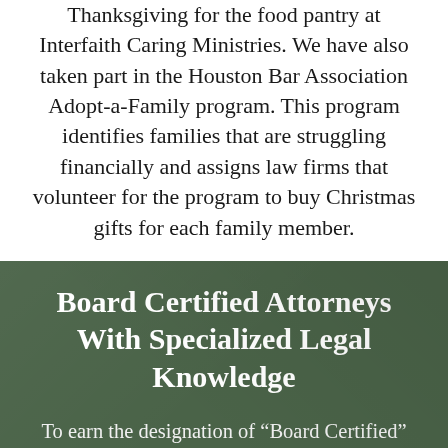Thanksgiving for the food pantry at Interfaith Caring Ministries. We have also taken part in the Houston Bar Association Adopt-a-Family program. This program identifies families that are struggling financially and assigns law firms that volunteer for the program to buy Christmas gifts for each family member.
Board Certified Attorneys With Specialized Legal Knowledge
To earn the designation of “Board Certified” from the Texas Board of Legal Specialization,